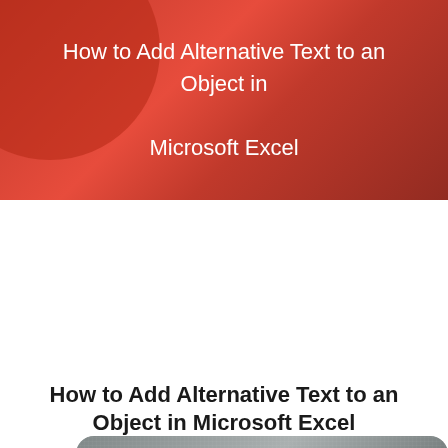How to Add Alternative Text to an Object in Microsoft Excel
[Figure (logo): Microsoft Excel logo on a grey textured rounded rectangle background]
How to Add Alternative Text to an Object in Microsoft Excel